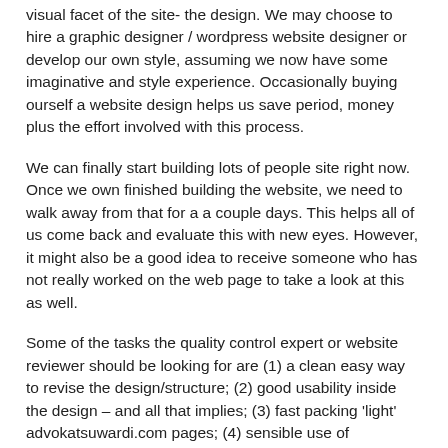visual facet of the site- the design. We may choose to hire a graphic designer / wordpress website designer or develop our own style, assuming we now have some imaginative and style experience. Occasionally buying ourself a website design helps us save period, money plus the effort involved with this process.
We can finally start building lots of people site right now. Once we own finished building the website, we need to walk away from that for a a couple days. This helps all of us come back and evaluate this with new eyes. However, it might also be a good idea to receive someone who has not really worked on the web page to take a look at this as well.
Some of the tasks the quality control expert or website reviewer should be looking for are (1) a clean easy way to revise the design/structure; (2) good usability inside the design – and all that implies; (3) fast packing 'light' advokatsuwardi.com pages; (4) sensible use of technology – using Flash when it makes sense simply; (5) the website' t ability